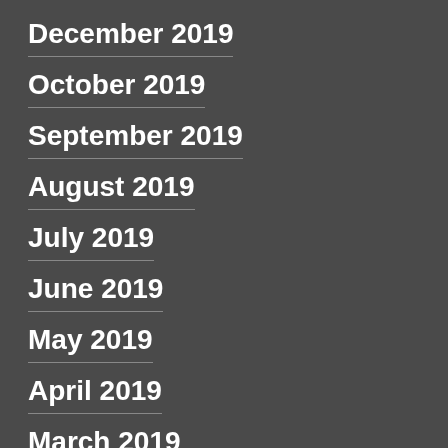December 2019
October 2019
September 2019
August 2019
July 2019
June 2019
May 2019
April 2019
March 2019
February 2019